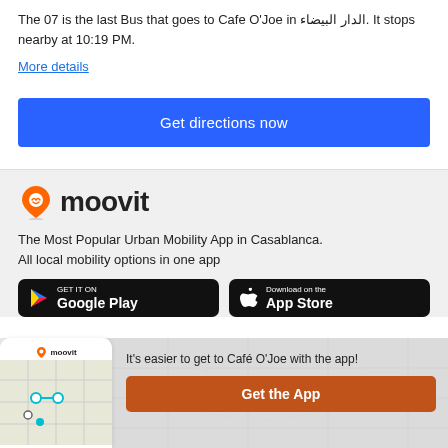The 07 is the last Bus that goes to Cafe O'Joe in الدار البيضاء. It stops nearby at 10:19 PM.
More details
Get directions now
[Figure (logo): Moovit logo with orange location pin icon and wordmark 'moovit' in black bold text]
The Most Popular Urban Mobility App in Casablanca. All local mobility options in one app
[Figure (screenshot): Google Play store badge - GET IT ON Google Play]
[Figure (screenshot): Download on the App Store badge]
[Figure (screenshot): Phone mockup showing Moovit app with map and route stops]
It's easier to get to Café O'Joe with the app!
Get the App